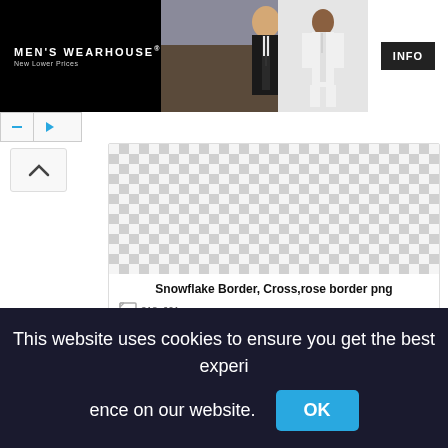[Figure (screenshot): Men's Wearhouse advertisement banner showing a couple in formal wear (man in black suit, woman in gown) and a man in a white suit, with INFO button]
Snowflake Border, Cross,rose border png
318x601px
[Figure (screenshot): Second image card with checkerboard transparent background pattern]
This website uses cookies to ensure you get the best experience on our website.